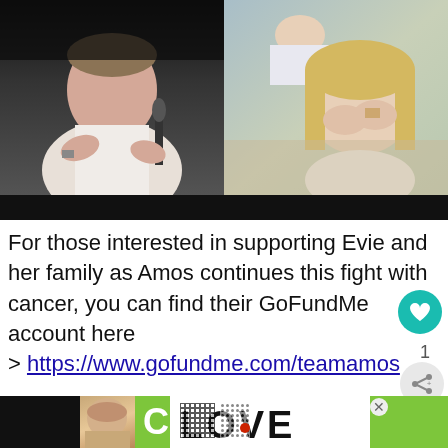[Figure (photo): Screenshot showing two photos side by side: left photo shows a man in a white shirt gesturing with his hands at a judging panel (Simon Cowell), right photo shows a woman covering her face with her hands, apparently emotional, possibly in a hospital bed setting. Below the photos is a black bar.]
For those interested in supporting Evie and her family as Amos continues this fight with cancer, you can find their GoFundMe account here > https://www.gofundme.com/teamamos
[Figure (screenshot): Advertisement banner with green background showing partial face photo on left and the word COOKIE in large white letters, with an X close button. Below is a LOVE graphic overlay with decorative black and white art lettering and a small red heart dot. On far right is a dark panel with a degree symbol icon.]